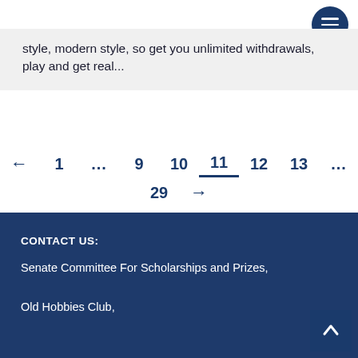style, modern style, so get you unlimited withdrawals, play and get real...
← 1 ... 9 10 11 12 13 ... 29 →
CONTACT US:
Senate Committee For Scholarships and Prizes,
Old Hobbies Club,